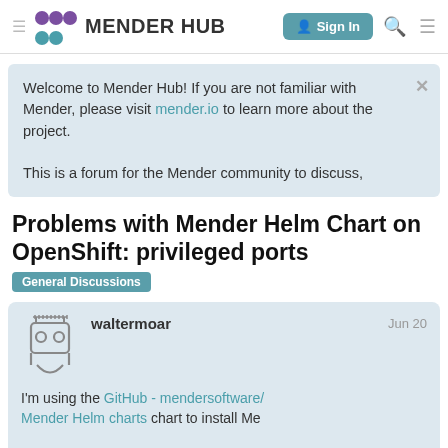MENDER HUB — Sign In
Welcome to Mender Hub! If you are not familiar with Mender, please visit mender.io to learn more about the project.

This is a forum for the Mender community to discuss,
Problems with Mender Helm Chart on OpenShift: privileged ports
General Discussions
waltermoar — Jun 20
I'm using the GitHub - mendersoftware/ Mender Helm charts chart to install Me